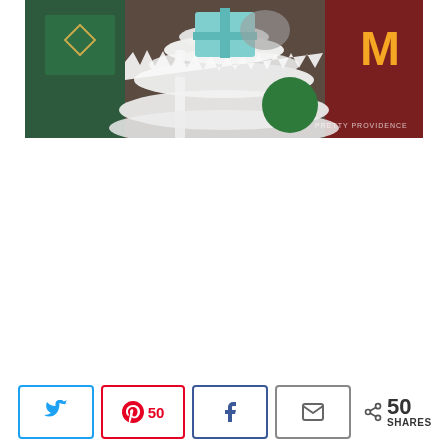[Figure (photo): Christmas scene with a white artificial tree in the foreground with fluffy white branches, ornaments including a green circular ornament and a teal/light blue gift box shape, and a dark red sweater with a yellow M letter in the background. Watermark reads PRETTY PROVIDENCE.]
[Figure (other): Social sharing bar at bottom with Twitter, Pinterest (count: 50), Facebook, and Email share buttons, plus a total shares count showing 50 SHARES.]